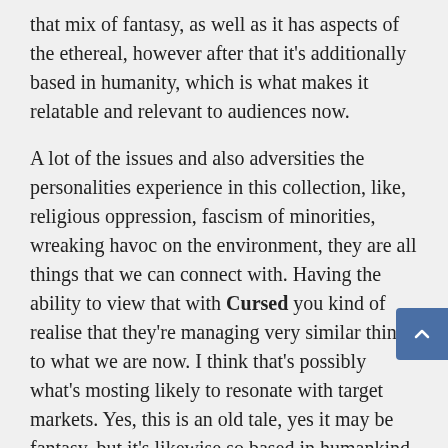that mix of fantasy, as well as it has aspects of the ethereal, however after that it's additionally based in humanity, which is what makes it relatable and relevant to audiences now.
A lot of the issues and also adversities the personalities experience in this collection, like, religious oppression, fascism of minorities, wreaking havoc on the environment, they are all things that we can connect with. Having the ability to view that with Cursed you kind of realise that they're managing very similar things to what we are now. I think that's possibly what's mosting likely to resonate with target markets. Yes, this is an old tale, yes it may be fantasy, but it's likewise so based in humankind that it still feels human, and current, as well as pertinent.
Post Views: 28